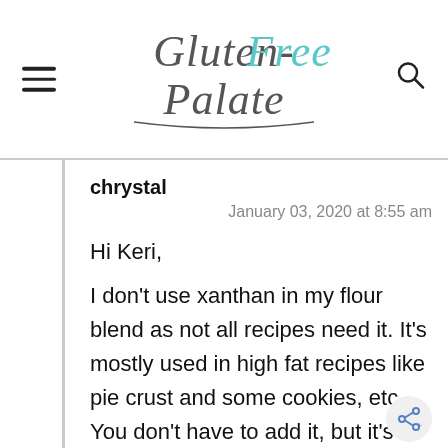Gluten-Free Palate
chrystal
January 03, 2020 at 8:55 am

Hi Keri,
I don't use xanthan in my flour blend as not all recipes need it. It's mostly used in high fat recipes like pie crust and some cookies, etc. You don't have to add it, but it's okay if you use a flour blend that has xanthan in it.